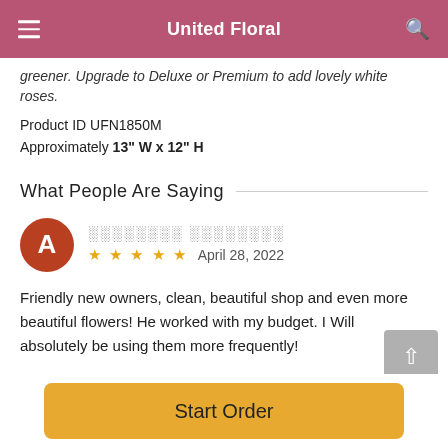United Floral
greener. Upgrade to Deluxe or Premium to add lovely white roses.
Product ID UFN1850M
Approximately 13" W x 12" H
What People Are Saying
A ░░░░░░░░ ░░░░░░░░  ★ ★ ★ ★ ★  April 28, 2022
Friendly new owners, clean, beautiful shop and even more beautiful flowers! He worked with my budget. I Will absolutely be using them more frequently!
Start Order